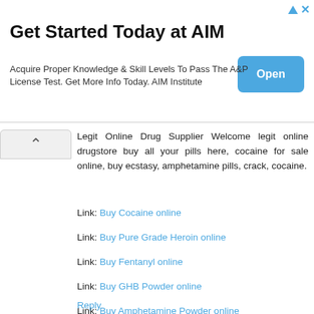[Figure (other): Advertisement banner for AIM Institute with title 'Get Started Today at AIM', body text about A&P License Test, and a blue 'Open' button]
Legit Online Drug Supplier Welcome legit online drugstore buy all your pills here, cocaine for sale online, buy ecstasy, amphetamine pills, crack, cocaine.
Link: Buy Cocaine online
Link: Buy Pure Grade Heroin online
Link: Buy Fentanyl online
Link: Buy GHB Powder online
Link: Buy Amphetamine Powder online
Link: Buy Black Tar Heroin online
Reply